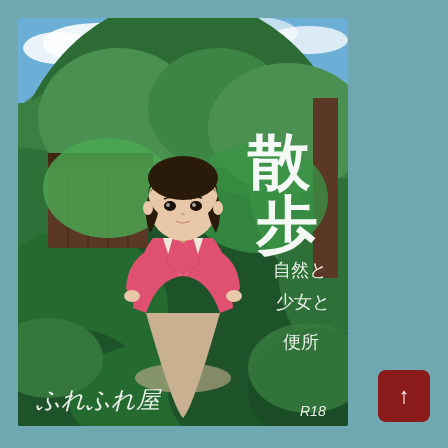[Figure (illustration): Anime-style book/doujinshi cover. A young girl with short dark hair stands among dense green tropical foliage. She wears a pink hoodie jacket over a cream top and a beige skirt. Behind her is a wooden shed structure. The sky above shows blue sky with clouds and green mountains. Large white Japanese title text '散歩' (Sanpo/Walk) is on the upper right. Below it in smaller white text: '自然と 少女と 便所' (Nature, Girl, Toilet). At the bottom left is a handwritten-style white logo text 'ふれふれ屋'. At the bottom right is 'R18' text in white.]